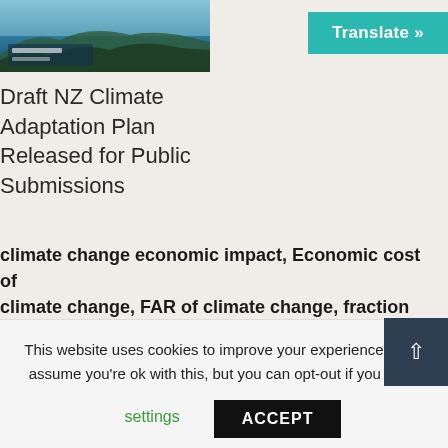[Figure (photo): Coastal landscape photo with ocean and rocky cliffs, partial view at top of page]
Translate »
Draft NZ Climate Adaptation Plan Released for Public Submissions
climate change economic impact, Economic cost of climate change, FAR of climate change, fraction of attributable risk, New Zealand, NZ climate change cost
0   0
Responsible Recycling of Electric Vehicles...
This website uses cookies to improve your experience. We'll assume you're ok with this, but you can opt-out if you wish.
settings
ACCEPT